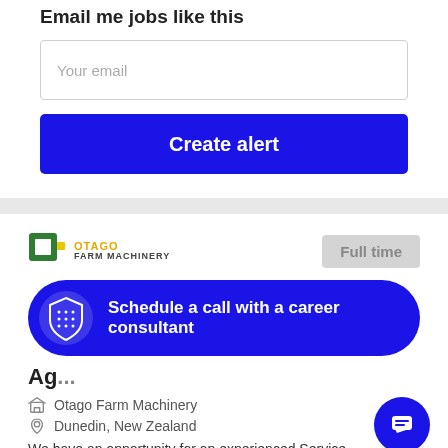Email me jobs like this
Your email
Create alert
[Figure (logo): Otago Farm Machinery logo — green square O icon with yellow accent, text OTAGO FARM MACHINERY]
Full time
Schedule a call with a career consultant
Ag...
Otago Farm Machinery
Dunedin, New Zealand
We have an opportunity for an experienced Service...